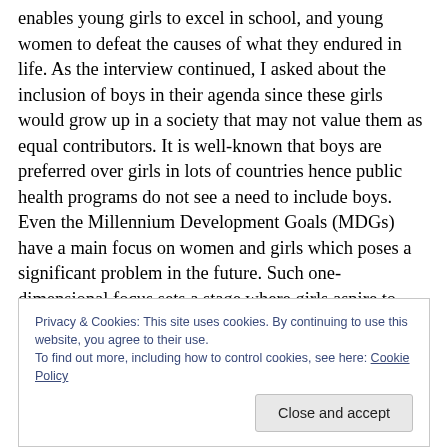enables young girls to excel in school, and young women to defeat the causes of what they endured in life. As the interview continued, I asked about the inclusion of boys in their agenda since these girls would grow up in a society that may not value them as equal contributors. It is well-known that boys are preferred over girls in lots of countries hence public health programs do not see a need to include boys. Even the Millennium Development Goals (MDGs) have a main focus on women and girls which poses a significant problem in the future. Such one-dimensional focus sets a stage where girls aspire to impact society
Privacy & Cookies: This site uses cookies. By continuing to use this website, you agree to their use.
To find out more, including how to control cookies, see here: Cookie Policy